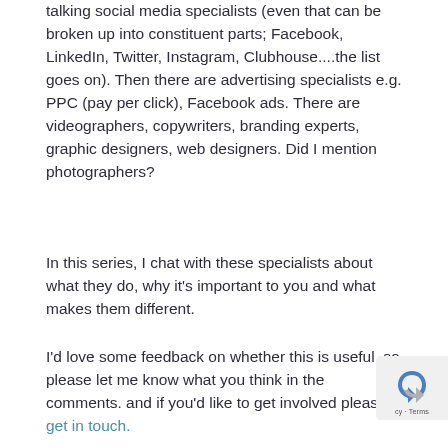talking social media specialists (even that can be broken up into constituent parts; Facebook, LinkedIn, Twitter, Instagram, Clubhouse....the list goes on). Then there are advertising specialists e.g. PPC (pay per click), Facebook ads. There are videographers, copywriters, branding experts, graphic designers, web designers. Did I mention photographers?
In this series, I chat with these specialists about what they do, why it's important to you and what makes them different.
I'd love some feedback on whether this is useful, so please let me know what you think in the comments. and if you'd like to get involved please get in touch.